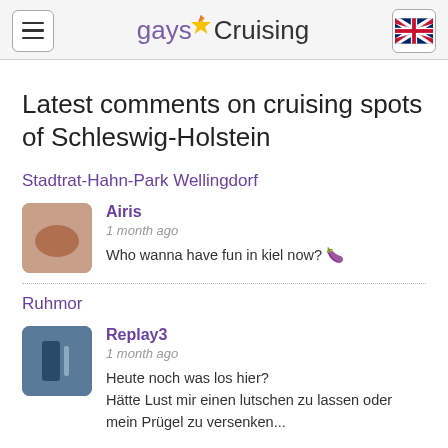gaysCruising
Latest comments on cruising spots of Schleswig-Holstein
Stadtrat-Hahn-Park Wellingdorf
Airis
1 month ago
Who wanna have fun in kiel now? 🍆
Ruhmor
Replay3
1 month ago
Heute noch was los hier?
Hätte Lust mir einen lutschen zu lassen oder mein Prügel zu versenken...